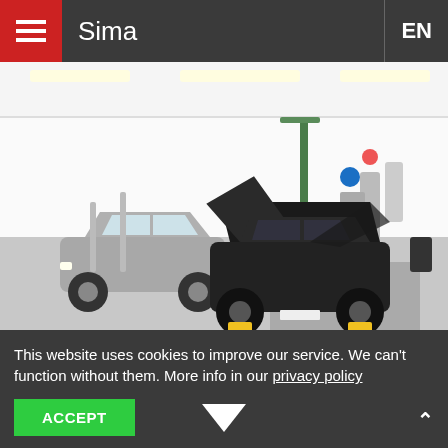Sima  EN
[Figure (photo): Interior of a modern automotive repair/bodywork workshop showing two cars — a silver hatchback on the left and a black SUV with hood open on the right, in a clean white-walled garage with overhead lighting and equipment]
REPAIRS AND BODYWORK
Sima has many years of experience in the area of bodywork
This website uses cookies to improve our service. We can't function without them. More info in our privacy policy
ACCEPT